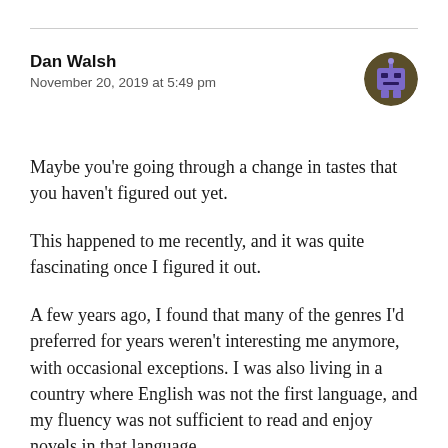Dan Walsh
November 20, 2019 at 5:49 pm
[Figure (illustration): Circular avatar image with a pixel-art robot/character icon on a dark olive/brown background, purple tones]
Maybe you're going through a change in tastes that you haven't figured out yet.
This happened to me recently, and it was quite fascinating once I figured it out.
A few years ago, I found that many of the genres I'd preferred for years weren't interesting me anymore, with occasional exceptions. I was also living in a country where English was not the first language, and my fluency was not sufficient to read and enjoy novels in that language.
With my options for English-language novels